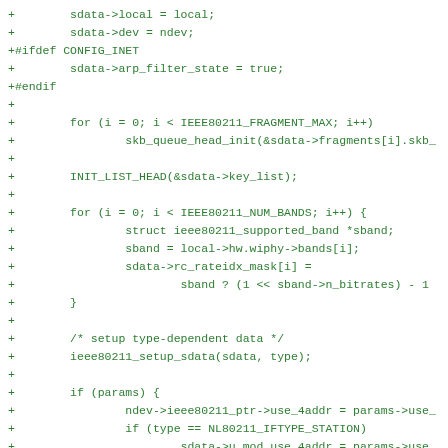[Figure (screenshot): Source code diff snippet in green monospace font showing C code additions with + prefix, including struct field assignments, preprocessor directives, for loops, and function calls related to IEEE 802.11 wireless networking code.]